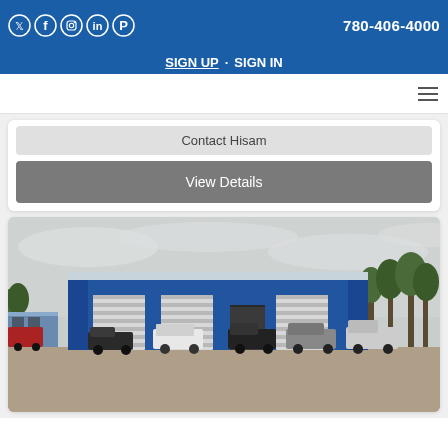Social icons: Twitter, Facebook, Instagram, LinkedIn, Pinterest | 780-406-4000
SIGN UP · SIGN IN
Contact Hisam
View Details
[Figure (photo): Exterior photo of a large blue industrial/commercial building with multiple garage doors and vehicles parked in front on a gravel lot, surrounded by trees under an overcast sky.]